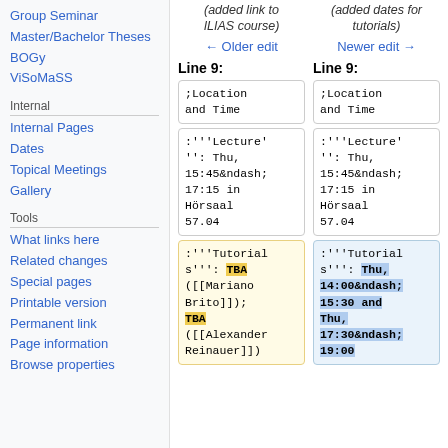Group Seminar
Master/Bachelor Theses
BOGy
ViSoMaSS
Internal
Internal Pages
Dates
Topical Meetings
Gallery
Tools
What links here
Related changes
Special pages
Printable version
Permanent link
Page information
Browse properties
(added link to ILIAS course)
(added dates for tutorials)
← Older edit
Newer edit →
Line 9:
Line 9:
;Location
and Time
;Location
and Time
:'''Lecture'': Thu, 15:45&ndash;17:15 in Hörsaal 57.04
:'''Lecture'': Thu, 15:45&ndash;17:15 in Hörsaal 57.04
:'''Tutorials''': TBA ([[Mariano Brito]]); TBA ([[Alexander Reinauer]])
:'''Tutorials''': Thu, 14:00&ndash;15:30 and Thu, 17:30&ndash;19:00